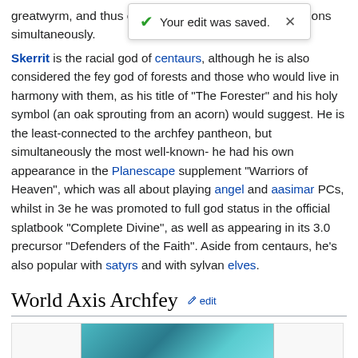greatwyrm, and thus exists on multiple parallel dimensions simultaneously.
Your edit was saved.
Skerrit is the racial god of centaurs, although he is also considered the fey god of forests and those who would live in harmony with them, as his title of "The Forester" and his holy symbol (an oak sprouting from an acorn) would suggest. He is the least-connected to the archfey pantheon, but simultaneously the most well-known- he had his own appearance in the Planescape supplement "Warriors of Heaven", which was all about playing angel and aasimar PCs, whilst in 3e he was promoted to full god status in the official splatbook "Complete Divine", as well as appearing in its 3.0 precursor "Defenders of the Faith". Aside from centaurs, he's also popular with satyrs and with sylvan elves.
World Axis Archfey
[Figure (photo): Partial view of a teal/blue colored image, likely a fantasy or nature illustration]